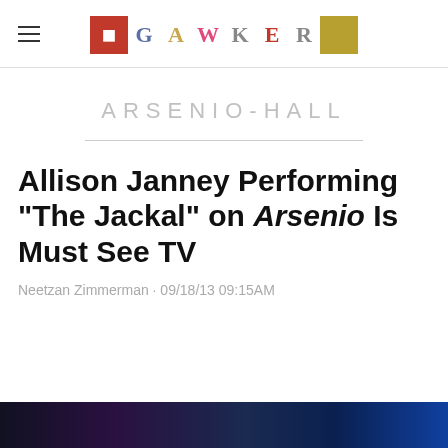GAWKER
ARSENIO-HALL
Allison Janney Performing "The Jackal" on Arsenio Is Must See TV
Neetzan Zimmerman · 09/18/13 09:15AM
[Figure (photo): Bottom strip showing a dark scene, likely a video still from the Arsenio Hall Show]